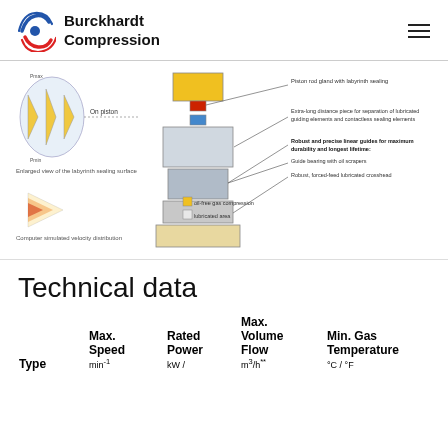Burckhardt Compression
[Figure (engineering-diagram): Cross-section diagram of an oil-free labyrinth piston compressor with callouts: Piston rod gland with labyrinth sealing, Extra-long distance piece for separation of lubricated guiding elements and contactless sealing elements, Robust and precise linear guides for maximum durability and longest lifetime, Guide bearing with oil scrapers, Robust, forced-feed lubricated crosshead. Legend: oil-free gas compression (yellow), lubricated area (light). Left insets: Enlarged view of the labyrinth sealing surface (On piston label), Computer simulated velocity distribution.]
Technical data
| Type | Max. Speed | Rated Power kW/ | Max. Volume Flow | Min. Gas Temperature |
| --- | --- | --- | --- | --- |